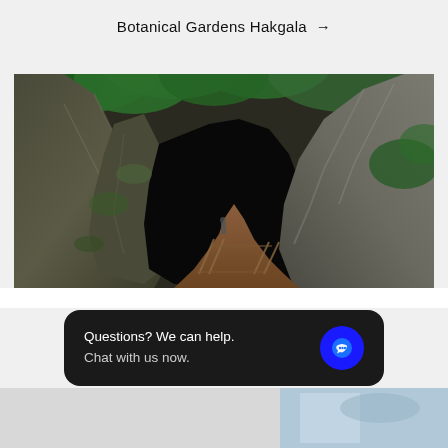Botanical Gardens Hakgala →
[Figure (photo): Wide-angle photograph of Ravana Cave, Sri Lanka — large moss-covered boulders and rocky cave entrance with green foliage above and a sandy path with wooden railings leading into the dark cave interior]
Ravana Cave →
Questions? We can help. Chat with us now.